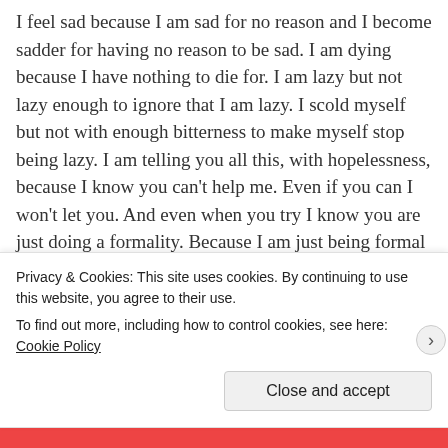I feel sad because I am sad for no reason and I become sadder for having no reason to be sad. I am dying because I have nothing to die for. I am lazy but not lazy enough to ignore that I am lazy. I scold myself but not with enough bitterness to make myself stop being lazy. I am telling you all this, with hopelessness, because I know you can't help me. Even if you can I won't let you. And even when you try I know you are just doing a formality. Because I am just being formal with myself. I take myself too seriously, but so
Privacy & Cookies: This site uses cookies. By continuing to use this website, you agree to their use.
To find out more, including how to control cookies, see here: Cookie Policy
Close and accept